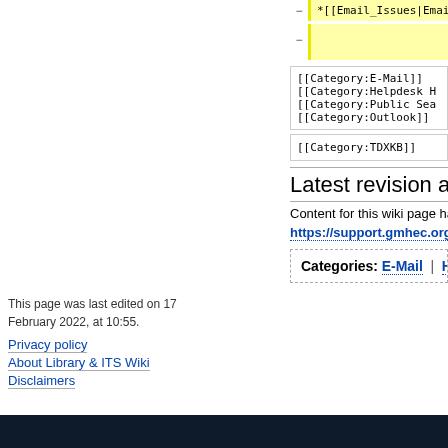[Figure (screenshot): Wiki diff view showing removed lines with yellow highlight. Lines: *[[Email_Issues|Email... and empty yellow line. Below: code boxes with [[Category:E-Mail]], [[Category:Helpdesk H..., [[Category:Public Sea..., [[Category:Outlook]], and [[Category:TDXKB]]]
Latest revision as o
Content for this wiki page has b
https://support.gmhec.org/Th
Categories: E-Mail | Helpde
This page was last edited on 17 February 2022, at 10:55.
Privacy policy
About Library & ITS Wiki
Disclaimers
[Figure (logo): Powered by MediaWiki badge/logo]